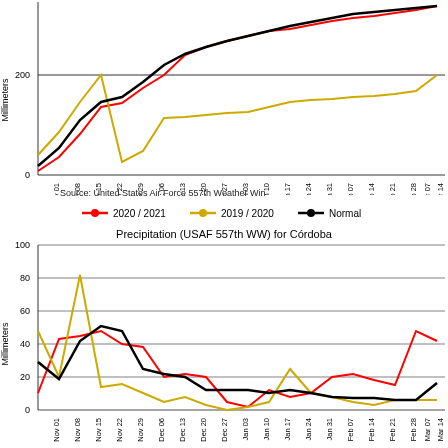[Figure (line-chart): Cumulative Precipitation (top, partial)]
Source: United States Air Force 557th Weather Win
[Figure (line-chart): Precipitation (USAF 557th WW) for Córdoba]